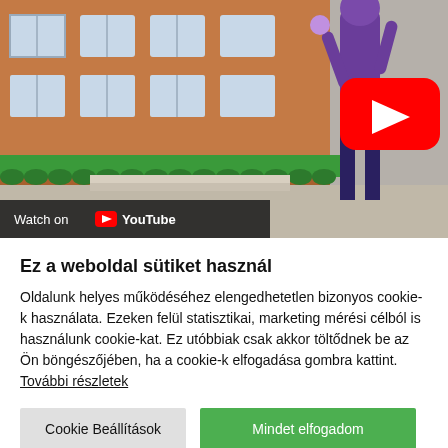[Figure (screenshot): YouTube video thumbnail showing an animated street scene with a cartoon character in purple and a YouTube play button overlay. A 'Watch on YouTube' bar appears at the bottom left of the thumbnail.]
Ez a weboldal sütiket használ
Oldalunk helyes működéséhez elengedhetetlen bizonyos cookie-k használata. Ezeken felül statisztikai, marketing mérési célból is használunk cookie-kat. Ez utóbbiak csak akkor töltődnek be az Ön böngészőjében, ha a cookie-k elfogadása gombra kattint. További részletek
Cookie Beállítások
Mindet elfogadom